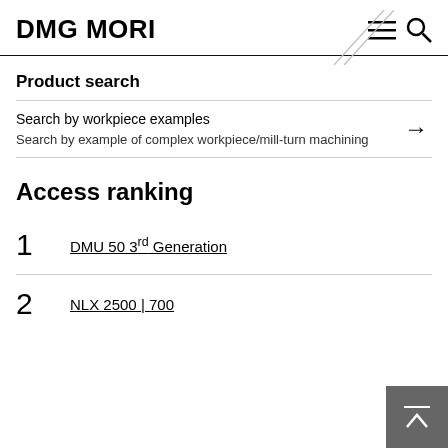DMG MORI
Product search
Search by workpiece examples
Search by example of complex workpiece/mill-turn machining
Access ranking
1  DMU 50 3rd Generation
2  NLX 2500 | 700